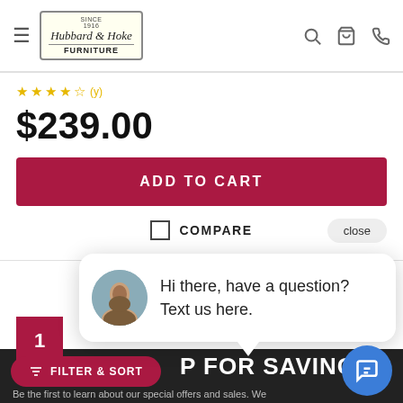[Figure (logo): Hubbard & Hoke Furniture logo with 'Since 1916' text in a bordered sign style]
$239.00
ADD TO CART
COMPARE
close
1
Hi there, have a question? Text us here.
P FOR SAVINGS
Be the first to learn about our special offers and sales. We
FILTER & SORT